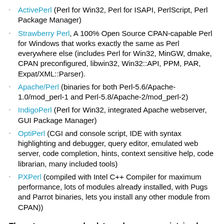ActivePerl (Perl for Win32, Perl for ISAPI, PerlScript, Perl Package Manager)
Strawberry Perl, A 100% Open Source CPAN-capable Perl for Windows that works exactly the same as Perl everywhere else (includes Perl for Win32, MinGW, dmake, CPAN preconfigured, libwin32, Win32::API, PPM, PAR, Expat/XML::Parser).
Apache/Perl (binaries for both Perl-5.6/Apache-1.0/mod_perl-1 and Perl-5.8/Apache-2/mod_perl-2)
IndigoPerl (Perl for Win32, integrated Apache webserver, GUI Package Manager)
OptiPerl (CGI and console script, IDE with syntax highlighting and debugger, query editor, emulated web server, code completion, hints, context sensitive help, code librarian, many included tools)
PXPerl (compiled with Intel C++ Compiler for maximum performance, lots of modules already installed, with Pugs and Parrot binaries, lets you install any other module from CPAN))
These two are very obsolete and no more maintained or updated. Use only if you know that you need these.
Perl (5.004) for Win32 for x86 Contains many useful additional modules. README
Perl (5.004) for Win32 for Alpha Identical to the x86 one, except for the target CPU. README